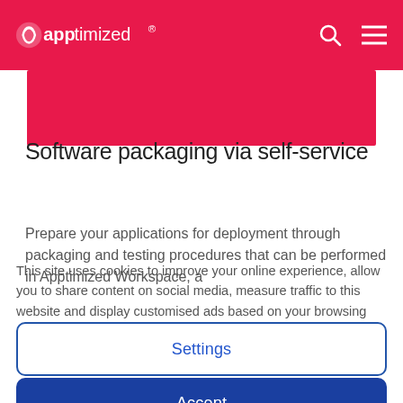apptimized®
Software packaging via self-service
Prepare your applications for deployment through packaging and testing procedures that can be performed in Apptimized Workspace, a
This site uses cookies to improve your online experience, allow you to share content on social media, measure traffic to this website and display customised ads based on your browsing activity.
Settings
Accept